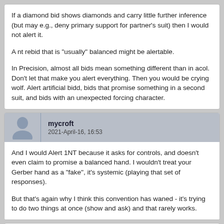If a diamond bid shows diamonds and carry little further inference (but may e.g., deny primary support for partner's suit) then I would not alert it.

A nt rebid that is "usually" balanced might be alertable.

In Precision, almost all bids mean something different than in acol. Don't let that make you alert everything. Then you would be crying wolf. Alert artificial bidd, bids that promise something in a second suit, and bids with an unexpected forcing character.
mycroft
2021-April-16, 16:53
And I would Alert 1NT because it asks for controls, and doesn't even claim to promise a balanced hand. I wouldn't treat your Gerber hand as a "fake", it's systemic (playing that set of responses).

But that's again why I think this convention has waned - it's trying to do two things at once (show and ask) and that rarely works.